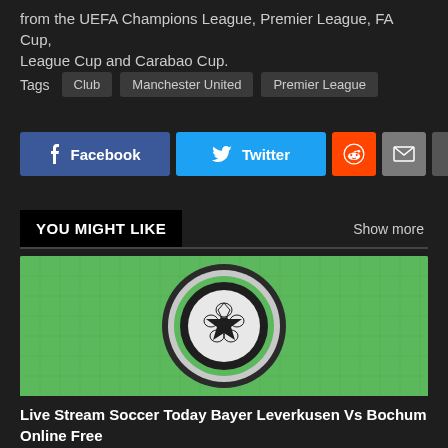from the UEFA Champions League, Premier League, FA Cup, League Cup and Carabao Cup.
Tags  Club  Manchester United  Premier League
[Figure (infographic): Social sharing buttons: Facebook (blue), Twitter (cyan), Reddit (orange), Email (grey), More (grey plus)]
YOU MIGHT LIKE
Show more
[Figure (illustration): Green grid background with a large circular soccer ball logo — dark outer ring, inner white/grey sphere with star and pentagon pattern, green accent ring]
Live Stream Soccer Today Bayer Leverkusen Vs Bochum Online Free